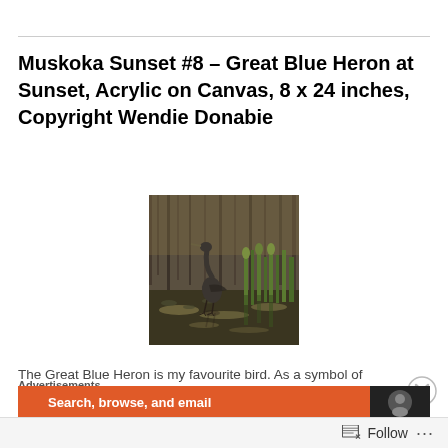Muskoka Sunset #8 – Great Blue Heron at Sunset, Acrylic on Canvas, 8 x 24 inches, Copyright Wendie Donabie
[Figure (photo): Painting of a Great Blue Heron standing in shallow water near grassy reeds, reflected in the dark water, with a muted golden-green background suggesting a sunset.]
The Great Blue Heron is my favourite bird. As a symbol of patience, contemplation, vigilance, divine wisdom, and inner quietness, it displays all the attributes needed when pursuing our dreams. View Wendie's
Advertisements